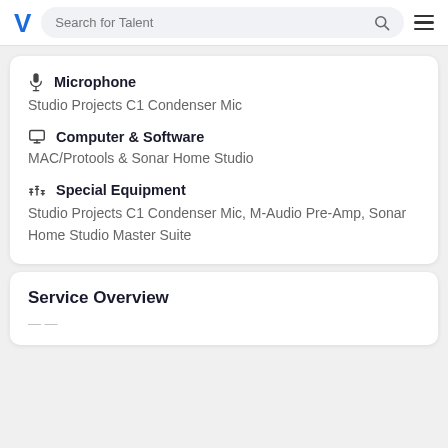Search for Talent
Microphone
Studio Projects C1 Condenser Mic
Computer & Software
MAC/Protools & Sonar Home Studio
Special Equipment
Studio Projects C1 Condenser Mic, M-Audio Pre-Amp, Sonar Home Studio Master Suite
Service Overview